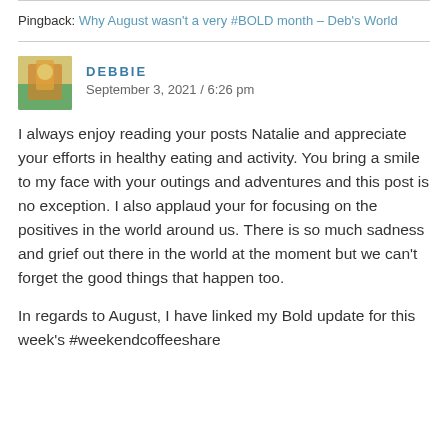Pingback: Why August wasn't a very #BOLD month – Deb's World
DEBBIE
September 3, 2021 / 6:26 pm
I always enjoy reading your posts Natalie and appreciate your efforts in healthy eating and activity. You bring a smile to my face with your outings and adventures and this post is no exception. I also applaud your for focusing on the positives in the world around us. There is so much sadness and grief out there in the world at the moment but we can't forget the good things that happen too.
In regards to August, I have linked my Bold update for this week's #weekendcoffeeshare